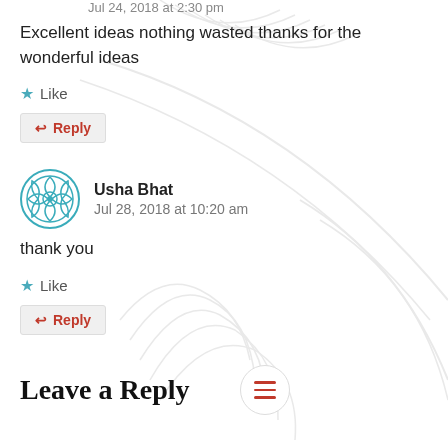Jul 24, 2018 at 2:30 pm
Excellent ideas nothing wasted thanks for the wonderful ideas
Like
Reply
Usha Bhat
Jul 28, 2018 at 10:20 am
thank you
Like
Reply
Leave a Reply